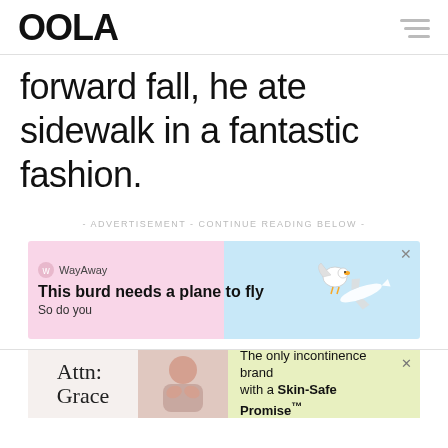OOLA
forward fall, he ate sidewalk in a fantastic fashion.
- ADVERTISEMENT - CONTINUE READING BELOW -
[Figure (illustration): WayAway advertisement banner: pink and blue background with cartoon bird and airplane, headline 'This burd needs a plane to fly', subline 'So do you']
[Figure (illustration): Partial advertisement for 'Attn: Grace' incontinence brand with yellow highlight and text 'The only incontinence brand with a Skin-Safe Promise™']